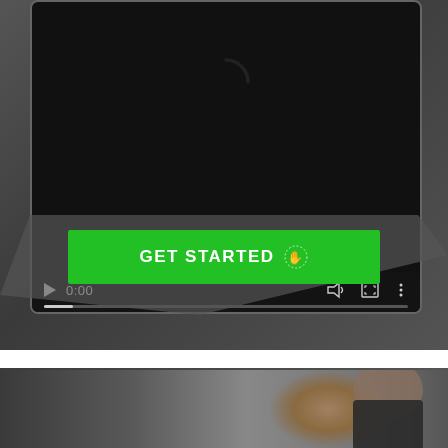[Figure (screenshot): Screenshot of a video player embedded in a tablet device. The video player shows a loading spinner (partial arc), playback controls showing play button, time '0:00', volume icon, fullscreen icon, and menu icon. A progress bar is visible at the bottom of the player. The tablet is set against a dark blurred background.]
[Figure (other): Green 'GET STARTED' call-to-action button with a hand/pointer icon, overlaid on the dark background section.]
[Figure (photo): Partial photo at the bottom of the page showing what appears to be a smiling person in a suit, cropped and partially visible.]